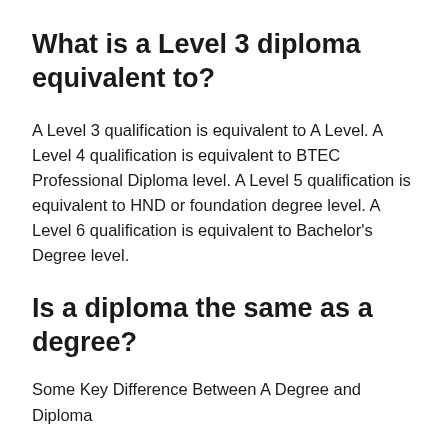What is a Level 3 diploma equivalent to?
A Level 3 qualification is equivalent to A Level. A Level 4 qualification is equivalent to BTEC Professional Diploma level. A Level 5 qualification is equivalent to HND or foundation degree level. A Level 6 qualification is equivalent to Bachelor’s Degree level.
Is a diploma the same as a degree?
Some Key Difference Between A Degree and Diploma